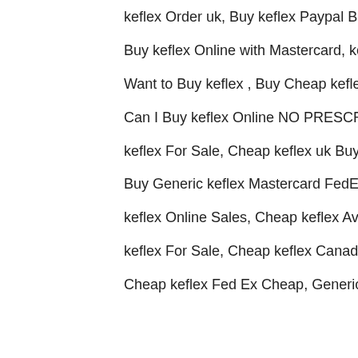keflex Order uk, Buy keflex Paypal Buy keflex online overnight,
Buy keflex Online with Mastercard, keflex no doctor Buy keflex online overnight delivery,
Want to Buy keflex , Buy Cheap keflex Buy cheap keflex online uk,
Can I Buy keflex Online NO PRESCRIPTION, keflex ups delivery Buy keflex from uk,
keflex For Sale, Cheap keflex uk Buy keflex online reviews,
Buy Generic keflex Mastercard FedEx, Buy keflex Online Visa Buy green keflex online,
keflex Online Sales, Cheap keflex Available Online Cheap keflex from nz,
keflex For Sale, Cheap keflex Canada,
Cheap keflex Fed Ex Cheap, Generic keflex tablets Order keflex online with prescription,